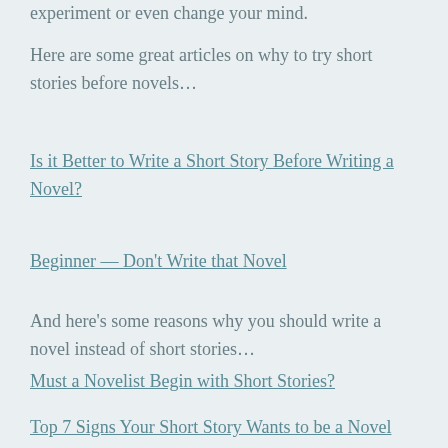experiment or even change your mind.
Here are some great articles on why to try short stories before novels…
Is it Better to Write a Short Story Before Writing a Novel?
Beginner — Don't Write that Novel
And here's some reasons why you should write a novel instead of short stories…
Must a Novelist Begin with Short Stories?
Top 7 Signs Your Short Story Wants to be a Novel
Or here's my personal favorite article saying… it